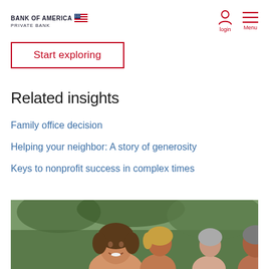BANK OF AMERICA | PRIVATE BANK — login | Menu
Start exploring
Related insights
Family office decision
Helping your neighbor: A story of generosity
Keys to nonprofit success in complex times
[Figure (photo): Group of people smiling outdoors, woman with brown hair in foreground, others in background with green foliage]